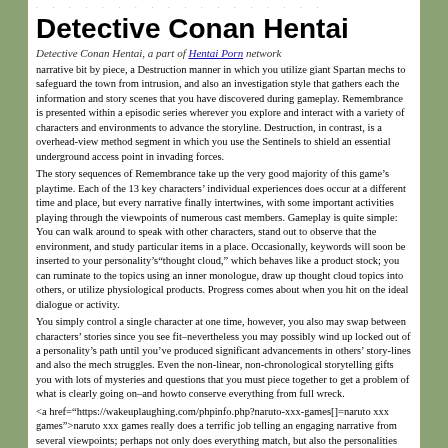· · · · · · · · · · · · · · · · · · · · · · · · · · · · · · · · · ·
Detective Conan Hentai
Detective Conan Hentai, a part of Hentai Porn network
narrative bit by piece, a Destruction manner in which you utilize giant Spartan mechs to safeguard the town from intrusion, and also an investigation style that gathers each the information and story scenes that you have discovered during gameplay. Remembrance is presented within a episodic series wherever you explore and interact with a variety of characters and environments to advance the storyline. Destruction, in contrast, is a overhead-view method segment in which you use the Sentinels to shield an essential underground access point in invading forces.
The story sequences of Remembrance take up the very good majority of this game’s playtime. Each of the 13 key characters’ individual experiences does occur at a different time and place, but every narrative finally intertwines, with some important activities playing through the viewpoints of numerous cast members. Gameplay is quite simple: You can walk around to speak with other characters, stand out to observe that the environment, and study particular items in a place. Occasionally, keywords will soon be inserted to your personality’s“thought cloud,” which behaves like a product stock; you can ruminate to the topics using an inner monologue, draw up thought cloud topics into others, or utilize physiological products. Progress comes about when you hit on the ideal dialogue or activity.
You simply control a single character at one time, however, you also may swap between characters’ stories since you see fit–nevertheless you may possibly wind up locked out of a personality’s path until you’ve produced significant advancements in others’ story-lines and also the mech struggles. Even the non-linear, non-chronological storytelling gifts you with lots of mysteries and questions that you must piece together to get a problem of what is clearly going on–and howto conserve everything from full wreck.
<a href="https://wakeuplaughing.com/phpinfo.php?naruto-xxx-games[]=naruto xxx games">naruto xxx games really does a terrific job telling an engaging narrative from several viewpoints; perhaps not only does everything match, but also the personalities also